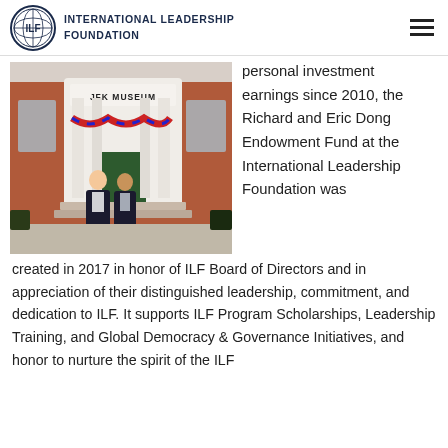INTERNATIONAL LEADERSHIP FOUNDATION
[Figure (photo): Two men in suits standing in front of the JFK Museum entrance with brick facade, white columns, and patriotic bunting decorations]
personal investment earnings since 2010, the Richard and Eric Dong Endowment Fund at the International Leadership Foundation was created in 2017 in honor of ILF Board of Directors and in appreciation of their distinguished leadership, commitment, and dedication to ILF. It supports ILF Program Scholarships, Leadership Training, and Global Democracy & Governance Initiatives, and honor to nurture the spirit of the ILF